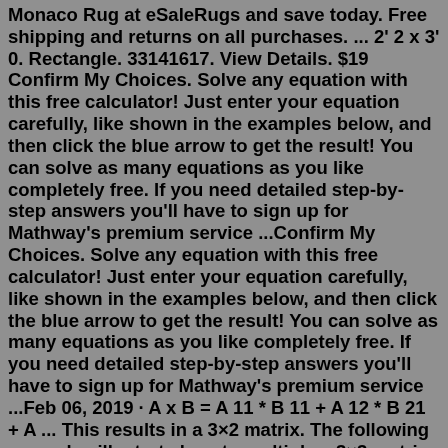Monaco Rug at eSaleRugs and save today. Free shipping and returns on all purchases. ... 2' 2 x 3' 0. Rectangle. 33141617. View Details. $19 Confirm My Choices. Solve any equation with this free calculator! Just enter your equation carefully, like shown in the examples below, and then click the blue arrow to get the result! You can solve as many equations as you like completely free. If you need detailed step-by-step answers you'll have to sign up for Mathway's premium service ...Confirm My Choices. Solve any equation with this free calculator! Just enter your equation carefully, like shown in the examples below, and then click the blue arrow to get the result! You can solve as many equations as you like completely free. If you need detailed step-by-step answers you'll have to sign up for Mathway's premium service ...Feb 06, 2019 · A x B = A 11 * B 11 + A 12 * B 21 + A ... This results in a 3×2 matrix. The following examples illustrate how to multiply a 3×3 matrix with a 3×2 matrix using real ... New Slitherio 3 Game. Slitherio-3 UnBlocked Snake Game. Survive game best players